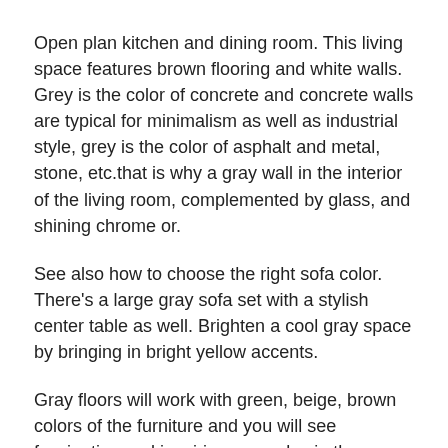Open plan kitchen and dining room. This living space features brown flooring and white walls. Grey is the color of concrete and concrete walls are typical for minimalism as well as industrial style, grey is the color of asphalt and metal, stone, etc.that is why a gray wall in the interior of the living room, complemented by glass, and shining chrome or.
See also how to choose the right sofa color. There's a large gray sofa set with a stylish center table as well. Brighten a cool gray space by bringing in bright yellow accents.
Gray floors will work with green, beige, brown colors of the furniture and you will see fascinating and inspiring examples in the gallery below. Custom style is the best style. Great gallery with designs by top designers worldwide.
It is also a good solution would be to combine the floor with